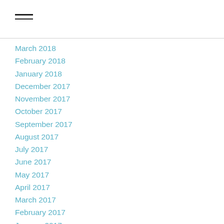[Figure (other): Hamburger menu icon (three horizontal lines)]
March 2018
February 2018
January 2018
December 2017
November 2017
October 2017
September 2017
August 2017
July 2017
June 2017
May 2017
April 2017
March 2017
February 2017
January 2017
December 2016
November 2016
October 2016